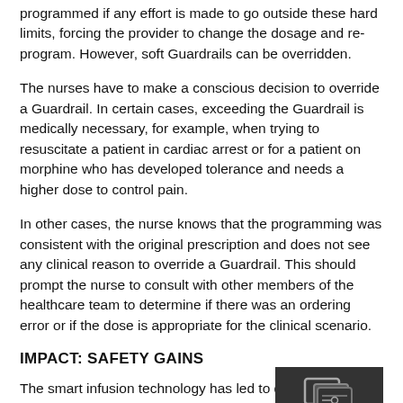programmed if any effort is made to go outside these hard limits, forcing the provider to change the dosage and re-program. However, soft Guardrails can be overridden.
The nurses have to make a conscious decision to override a Guardrail. In certain cases, exceeding the Guardrail is medically necessary, for example, when trying to resuscitate a patient in cardiac arrest or for a patient on morphine who has developed tolerance and needs a higher dose to control pain.
In other cases, the nurse knows that the programming was consistent with the original prescription and does not see any clinical reason to override a Guardrail. This should prompt the nurse to consult with other members of the healthcare team to determine if there was an ordering error or if the dose is appropriate for the clinical scenario.
IMPACT: SAFETY GAINS
The smart infusion technology has led to qu safety gains. Because the computerized data os